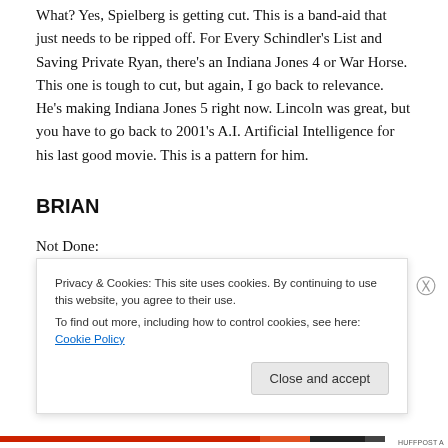What? Yes, Spielberg is getting cut. This is a band-aid that just needs to be ripped off. For Every Schindler's List and Saving Private Ryan, there's an Indiana Jones 4 or War Horse. This one is tough to cut, but again, I go back to relevance. He's making Indiana Jones 5 right now. Lincoln was great, but you have to go back to 2001's A.I. Artificial Intelligence for his last good movie. This is a pattern for him.
BRIAN
Not Done:
[Figure (screenshot): Cookie consent banner overlay reading 'Privacy & Cookies: This site uses cookies. By continuing to use this website, you agree to their use. To find out more, including how to control cookies, see here: Cookie Policy' with a 'Close and accept' button, and a circular close (X) button to the right.]